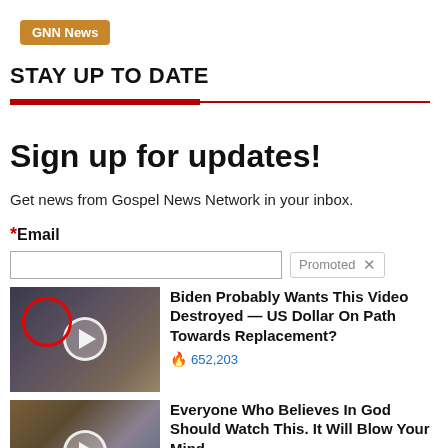GNN News
STAY UP TO DATE
Sign up for updates!
Get news from Gospel News Network in your inbox.
*Email
Promoted
[Figure (photo): Promoted ad thumbnail: group of men in suits with a red circle highlight and play button overlay]
Biden Probably Wants This Video Destroyed — US Dollar On Path Towards Replacement?
🔥 652,203
[Figure (photo): Promoted ad thumbnail: outdoor scene with crosses and mountains, play button overlay]
Everyone Who Believes In God Should Watch This. It Will Blow Your Mind
🔥 2,862,938